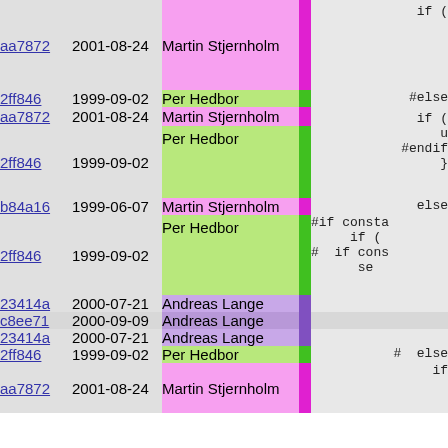| hash | date | author | bar | code |
| --- | --- | --- | --- | --- |
| aa7872 | 2001-08-24 | Martin Stjernholm |  | if ( |
| 2ff846 | 1999-09-02 | Per Hedbor |  | #else |
| aa7872 | 2001-08-24 | Martin Stjernholm |  | if ( |
| 2ff846 | 1999-09-02 | Per Hedbor |  | u
#endif
} |
| b84a16 | 1999-06-07 | Martin Stjernholm |  | else |
| 2ff846 | 1999-09-02 | Per Hedbor |  | #if consta
    if (
#  if cons
    se |
| 23414a | 2000-07-21 | Andreas Lange |  |  |
| c8ee71 | 2000-09-09 | Andreas Lange |  |  |
| 23414a | 2000-07-21 | Andreas Lange |  |  |
| 2ff846 | 1999-09-02 | Per Hedbor |  | #  else |
| aa7872 | 2001-08-24 | Martin Stjernholm |  | if |